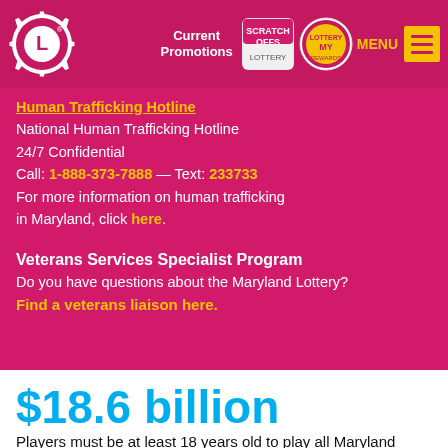[Figure (screenshot): Maryland Lottery navigation bar with logo, Current Promotions link, Scratch Offs badge, My Rewards badge, MENU text and hamburger icon]
National Human Trafficking Hotline
24/7 Confidential
Call: 1-888-373-7888 — Text: 233733
For more information on human trafficking in Maryland, click here.
Veterans Services Specialist Program
Do you have questions about the Maryland Lottery?
Find a veterans liaison here.
$18.6 billion
in revenue to the State of Maryland since our inception in 1973.
Players must be at least 18 years old to play all Maryland Lottery games. The Maryland Lottery encourages responsible play.
The only official winning numbers are the numbers actually drawn. Information should always be verified